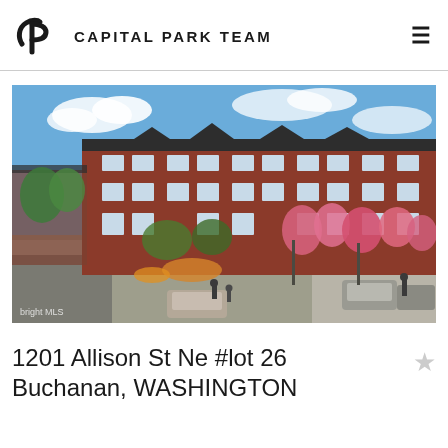CAPITAL PARK TEAM
[Figure (photo): Architectural rendering of a multi-story red brick townhouse development with cherry blossom trees lining the street, parked cars, and pedestrians on the sidewalk. Blue sky with clouds. 'bright MLS' watermark in bottom left corner.]
1201 Allison St Ne #lot 26 Buchanan, WASHINGTON